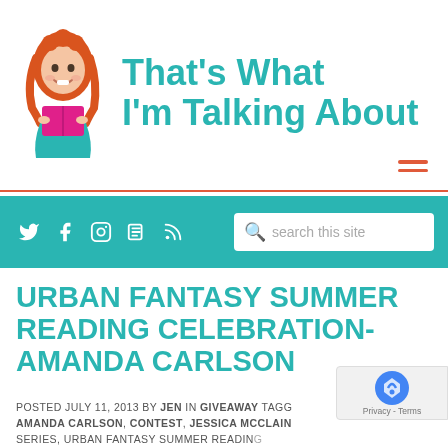[Figure (logo): Blog logo: cartoon illustration of a red-haired woman reading a pink book, with teal text 'That's What I'm Talking About']
That's What I'm Talking About
[Figure (infographic): Teal navigation bar with social media icons (Twitter, Facebook, Instagram, Blog, RSS) and a search box reading 'search this site']
URBAN FANTASY SUMMER READING CELEBRATION- AMANDA CARLSON
POSTED JULY 11, 2013 BY JEN IN GIVEAWAY TAGGED AMANDA CARLSON, CONTEST, JESSICA MCCLAIN SERIES, URBAN FANTASY SUMMER READING